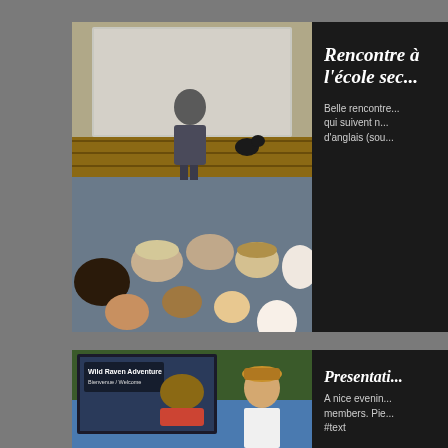[Figure (photo): A man presenting at the front of a lecture hall with students seated with their backs to the camera. A dog is visible near the presenter. There is a projection screen behind.]
Rencontre à l'école sec...
Belle rencontre... qui suivent n... d'anglais (sou...
[Figure (photo): Wild Raven Adventure presentation slide showing 'Bienvenue / Welcome' with a man kayaking on water. A presenter stands in front.]
Presentati...
A nice evenin... members. Pie... #text